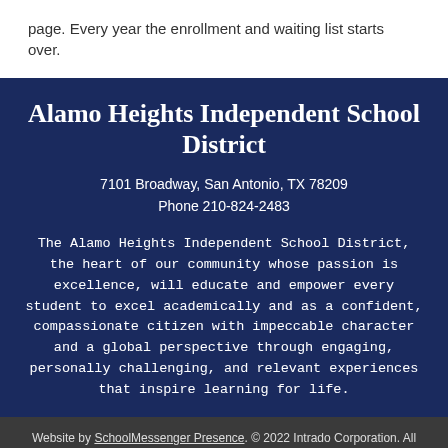page. Every year the enrollment and waiting list starts over.
Alamo Heights Independent School District
7101 Broadway, San Antonio, TX 78209
Phone 210-824-2483
The Alamo Heights Independent School District, the heart of our community whose passion is excellence, will educate and empower every student to excel academically and as a confident, compassionate citizen with impeccable character and a global perspective through engaging, personally challenging, and relevant experiences that inspire learning for life.
Website by SchoolMessenger Presence. © 2022 Intrado Corporation. All rights reserved.